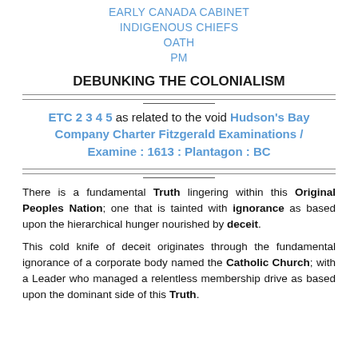EARLY CANADA CABINET INDIGENOUS CHIEFS OATH PM
DEBUNKING THE COLONIALISM
ETC 2 3 4 5 as related to the void Hudson's Bay Company Charter Fitzgerald Examinations / Examine : 1613 : Plantagon : BC
There is a fundamental Truth lingering within this Original Peoples Nation; one that is tainted with ignorance as based upon the hierarchical hunger nourished by deceit.
This cold knife of deceit originates through the fundamental ignorance of a corporate body named the Catholic Church; with a Leader who managed a relentless membership drive as based upon the dominant side of this Truth.